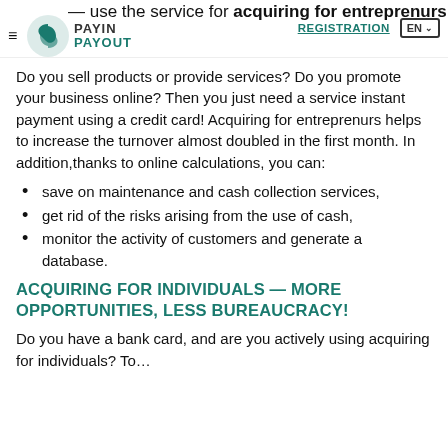— use the service for acquiring for entrepreneurs from P… PAYIN PAYOUT REGISTRATION EN
Do you sell products or provide services? Do you promote your business online? Then you just need a service instant payment using a credit card! Acquiring for entreprenurs helps to increase the turnover almost doubled in the first month. In addition,thanks to online calculations, you can:
save on maintenance and cash collection services,
get rid of the risks arising from the use of cash,
monitor the activity of customers and generate a database.
ACQUIRING FOR INDIVIDUALS — MORE OPPORTUNITIES, LESS BUREAUCRACY!
Do you have a bank card, and are you actively using acquiring for individuals? To…